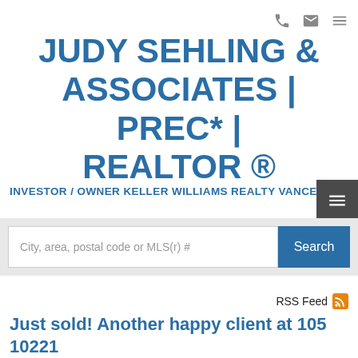Navigation icons (phone, email, menu)
JUDY SEHLING & ASSOCIATES | PREC* | REALTOR ®
INVESTOR / OWNER KELLER WILLIAMS REALTY VANCENTRAL
City, area, postal code or MLS(r) #
Search
RSS Feed
Just sold! Another happy client at 105 10221 133A ST in Surrey